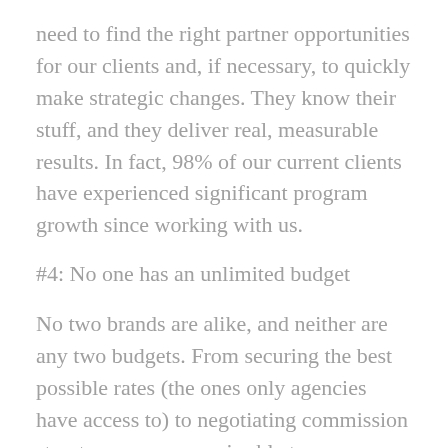need to find the right partner opportunities for our clients and, if necessary, to quickly make strategic changes. They know their stuff, and they deliver real, measurable results. In fact, 98% of our current clients have experienced significant program growth since working with us.
#4: No one has an unlimited budget
No two brands are alike, and neither are any two budgets. From securing the best possible rates (the ones only agencies have access to) to negotiating commission structures, an agency is able to strategically stretch your marketing dollars–and maximize your return. It's also important to remember that time is money.